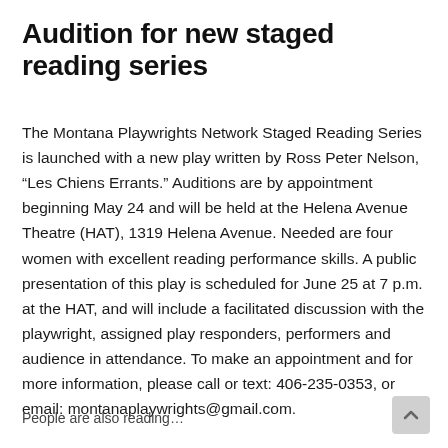Audition for new staged reading series
The Montana Playwrights Network Staged Reading Series is launched with a new play written by Ross Peter Nelson, “Les Chiens Errants.” Auditions are by appointment beginning May 24 and will be held at the Helena Avenue Theatre (HAT), 1319 Helena Avenue. Needed are four women with excellent reading performance skills. A public presentation of this play is scheduled for June 25 at 7 p.m. at the HAT, and will include a facilitated discussion with the playwright, assigned play responders, performers and audience in attendance. To make an appointment and for more information, please call or text: 406-235-0353, or email: montanaplaywrights@gmail.com.
People are also reading…